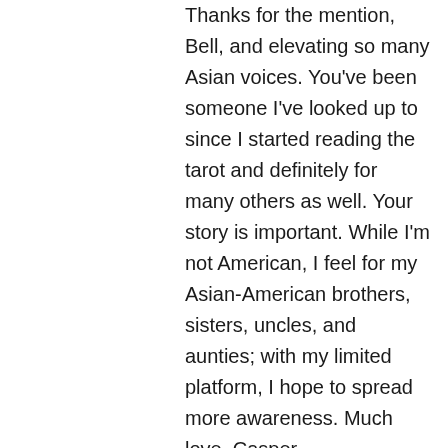Thanks for the mention, Bell, and elevating so many Asian voices. You've been someone I've looked up to since I started reading the tarot and definitely for many others as well. Your story is important. While I'm not American, I feel for my Asian-American brothers, sisters, uncles, and aunties; with my limited platform, I hope to spread more awareness. Much love, Casper
★ Like
↳ Reply
Liz @weststarhealthandhealing on March 21, 2021 at 6:11 pm
Wonderful newsletter full of great resources. I hear you about thinking you can change the